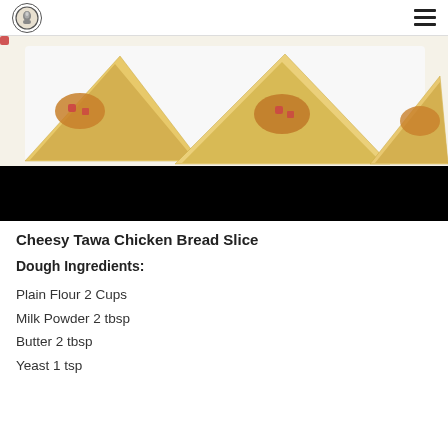[Figure (photo): Three triangular cheesy chicken bread slices on a white plate, golden-brown with red pepper topping. Below the photo is a black banner bar.]
Cheesy Tawa Chicken Bread Slice
Dough Ingredients:
Plain Flour 2 Cups
Milk Powder 2 tbsp
Butter 2 tbsp
Yeast 1 tsp